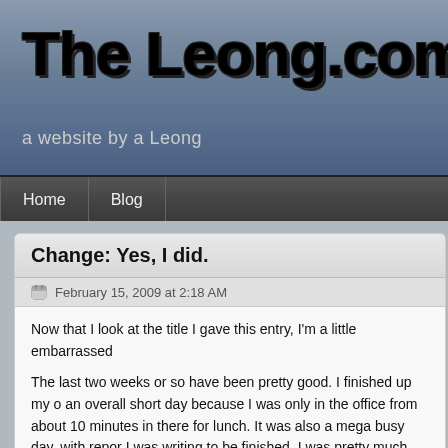The Leong.com
a website by a Leong
Home  Blog
Change: Yes, I did.
February 15, 2009 at 2:18 AM
Now that I look at the title I gave this entry, I'm a little embarrassed
The last two weeks or so have been pretty good. I finished up my o an overall short day because I was only in the office from about 10 minutes in there for lunch. It was also a mega busy day, with repor I was writing to be finished. I was pretty much either cleaning stuff typing away at my keyboard the entire day. Headed out of the office Chiba, and got back around 9PM. Had a small party at Umaimonya was strange to think that I'm done with that company, having worke wasn't really that long, but even my time at the head office seemed in a bad way really – I just felt comfortable working here after less t
Now for the change. I've started working for this new company, anc is that everything is done is the Japanese side, i